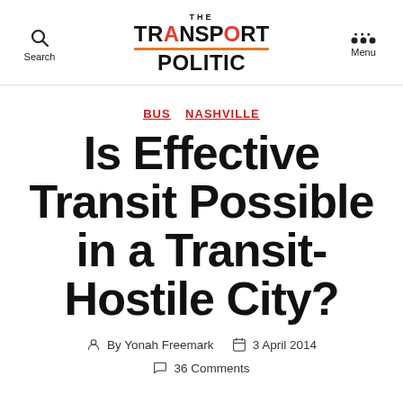THE TRANSPORT POLITIC — Search | Menu
BUS  NASHVILLE
Is Effective Transit Possible in a Transit-Hostile City?
By Yonah Freemark   3 April 2014
36 Comments